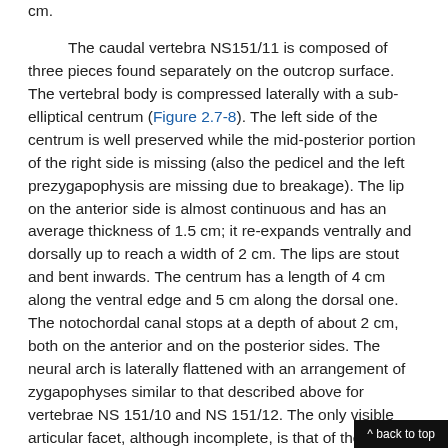cm.

The caudal vertebra NS151/11 is composed of three pieces found separately on the outcrop surface. The vertebral body is compressed laterally with a sub-elliptical centrum (Figure 2.7-8). The left side of the centrum is well preserved while the mid-posterior portion of the right side is missing (also the pedicel and the left prezygapophysis are missing due to breakage). The lip on the anterior side is almost continuous and has an average thickness of 1.5 cm; it re-expands ventrally and dorsally up to reach a width of 2 cm. The lips are stout and bent inwards. The centrum has a length of 4 cm along the ventral edge and 5 cm along the dorsal one. The notochordal canal stops at a depth of about 2 cm, both on the anterior and on the posterior sides. The neural arch is laterally flattened with an arrangement of zygapophyses similar to that described above for vertebrae NS 151/10 and NS 151/12. The only visible articular facet, although incomplete, is that of the right postzygapophysis. Overall, the facet has an elliptical shape with a major axis of about 2.5 cm and a minor axis of about 2 cm, and dip at an angle of about 30°. The l
^ back to top